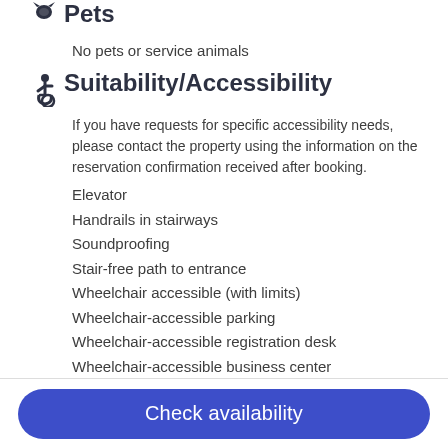Pets
No pets or service animals
Suitability/Accessibility
If you have requests for specific accessibility needs, please contact the property using the information on the reservation confirmation received after booking.
Elevator
Handrails in stairways
Soundproofing
Stair-free path to entrance
Wheelchair accessible (with limits)
Wheelchair-accessible parking
Wheelchair-accessible registration desk
Wheelchair-accessible business center
Wheelchair-accessible restaurant
Check availability